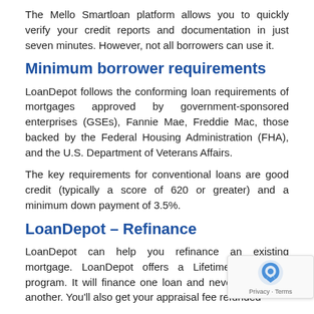The Mello Smartloan platform allows you to quickly verify your credit reports and documentation in just seven minutes. However, not all borrowers can use it.
Minimum borrower requirements
LoanDepot follows the conforming loan requirements of mortgages approved by government-sponsored enterprises (GSEs), Fannie Mae, Freddie Mac, those backed by the Federal Housing Administration (FHA), and the U.S. Department of Veterans Affairs.
The key requirements for conventional loans are good credit (typically a score of 620 or greater) and a minimum down payment of 3.5%.
LoanDepot – Refinance
LoanDepot can help you refinance an existing mortgage. LoanDepot offers a Lifetime Guarantee program. It will finance one loan and never charge for another. You'll also get your appraisal fee refunded